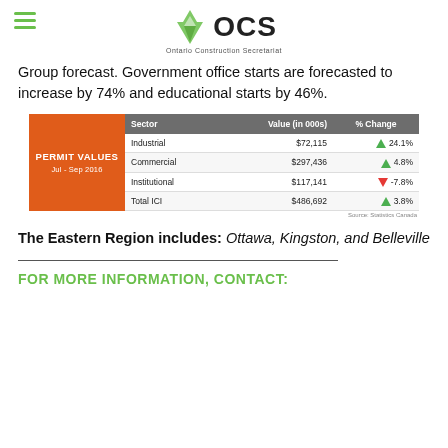OCS Ontario Construction Secretariat
Group forecast. Government office starts are forecasted to increase by 74% and educational starts by 46%.
| Sector | Value (in 000s) | % Change |
| --- | --- | --- |
| Industrial | $72,115 | ▲ 24.1% |
| Commercial | $297,436 | ▲ 4.8% |
| Institutional | $117,141 | ▼ -7.8% |
| Total ICI | $486,692 | ▲ 3.8% |
The Eastern Region includes: Ottawa, Kingston, and Belleville
FOR MORE INFORMATION, CONTACT: